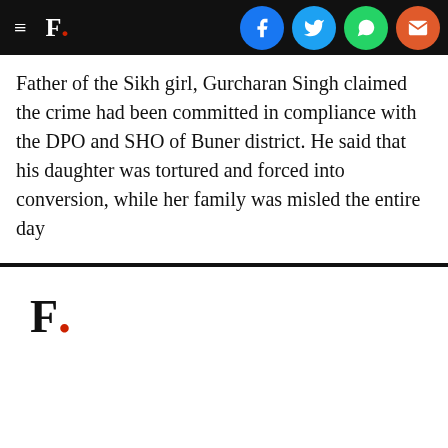F. [logo with social share buttons: Facebook, Twitter, WhatsApp, Email]
Father of the Sikh girl, Gurcharan Singh claimed the crime had been committed in compliance with the DPO and SHO of Buner district. He said that his daughter was tortured and forced into conversion, while her family was misled the entire day
[Figure (logo): F. logo — large bold F with red dot, black on white background]